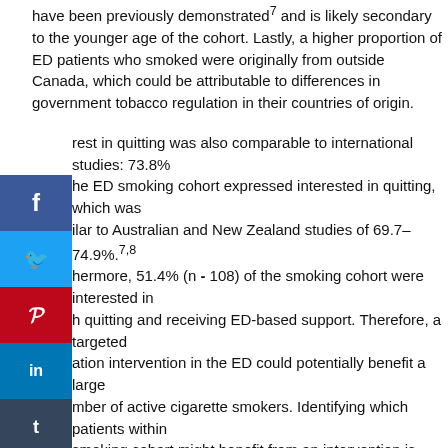have been previously demonstrated7 and is likely secondary to the younger age of the cohort. Lastly, a higher proportion of ED patients who smoked were originally from outside Canada, which could be attributable to differences in government tobacco regulation in their countries of origin.
rest in quitting was also comparable to international studies: 73.8% he ED smoking cohort expressed interested in quitting, which was ilar to Australian and New Zealand studies of 69.7–74.9%.7,8 hermore, 51.4% (n = 108) of the smoking cohort were interested in h quitting and receiving ED-based support. Therefore, a targeted ation intervention in the ED could potentially benefit a large mber of active cigarette smokers. Identifying which patients within smoking cohort might benefit from an intervention is difficult; vever, CTAS 4 or 5 patients may be more interested in quitting than e with more acute CTAS scores. Quit attempts and prolonged tinence rates have been demonstrated to be more efficacious in viduals with lower FTND scores.26 As the majority of ED patients who smoke were categorized as having minimal to moderate nicotine dependence (87.2%), ED counselling and interventions could prove beneficial for smoking abstinence.
All three proposed smoking cessation interventions have been previously trialed in other EDs. Cessation counselling while in the ED